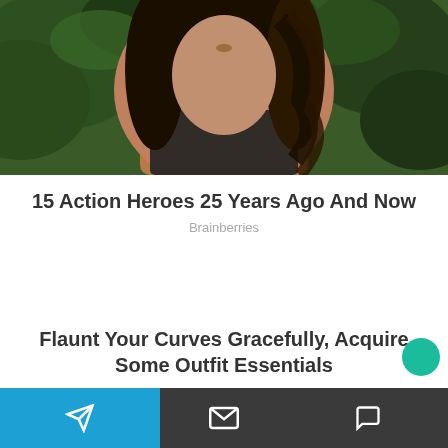[Figure (photo): Photo of a woman with curly brown hair and dark clothing, outdoors with green foliage in background]
15 Action Heroes 25 Years Ago And Now
Brainberries
Flaunt Your Curves Gracefully, Acquire Some Outfit Essentials
Navigation bar with send, mail, and chat icons